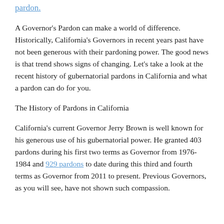pardon.
A Governor's Pardon can make a world of difference. Historically, California's Governors in recent years past have not been generous with their pardoning power. The good news is that trend shows signs of changing. Let's take a look at the recent history of gubernatorial pardons in California and what a pardon can do for you.
The History of Pardons in California
California's current Governor Jerry Brown is well known for his generous use of his gubernatorial power. He granted 403 pardons during his first two terms as Governor from 1976-1984 and 929 pardons to date during this third and fourth terms as Governor from 2011 to present. Previous Governors, as you will see, have not shown such compassion.